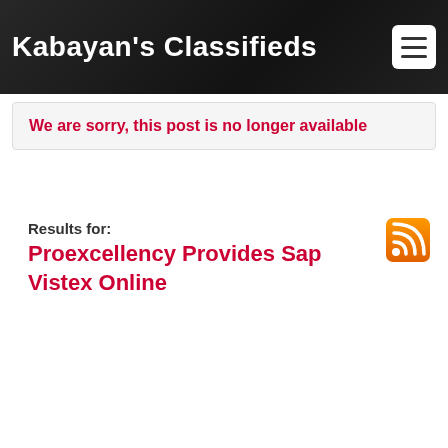Kabayan's Classifieds
We are sorry, this post is no longer available
Results for:
Proexcellency Provides Sap Vistex Online
[Figure (infographic): RSS feed icon — orange rounded square with white wifi/signal arcs]